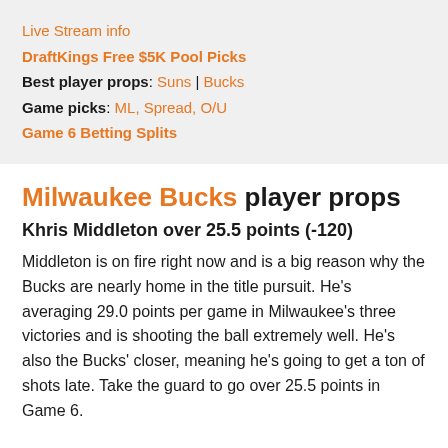Live Stream info
DraftKings Free $5K Pool Picks
Best player props: Suns | Bucks
Game picks: ML, Spread, O/U
Game 6 Betting Splits
Milwaukee Bucks player props
Khris Middleton over 25.5 points (-120)
Middleton is on fire right now and is a big reason why the Bucks are nearly home in the title pursuit. He's averaging 29.0 points per game in Milwaukee's three victories and is shooting the ball extremely well. He's also the Bucks' closer, meaning he's going to get a ton of shots late. Take the guard to go over 25.5 points in Game 6.